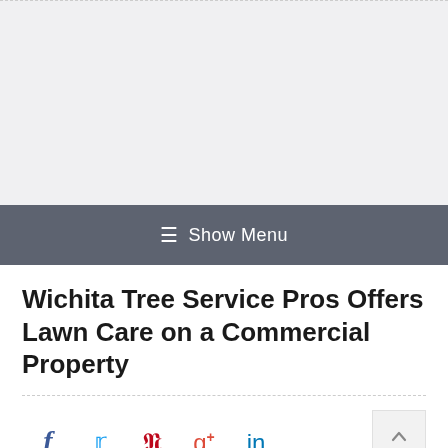[Figure (other): Gray placeholder header area with dashed top border]
≡ Show Menu
Wichita Tree Service Pros Offers Lawn Care on a Commercial Property
Social share icons: Facebook, Twitter, Pinterest, Google+, LinkedIn. Back to top button.